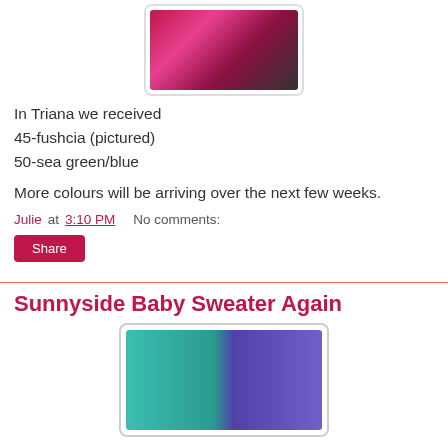[Figure (photo): Pink/fuchsia ruffle yarn or knitted piece on a grey background]
In Triana we received
45-fushcia (pictured)
50-sea green/blue
More colours will be arriving over the next few weeks.
Julie at 3:10 PM    No comments:
Share
Sunnyside Baby Sweater Again
[Figure (photo): Two knitted baby sweaters side by side — one teal/turquoise and one blue/purple — on a wooden background]